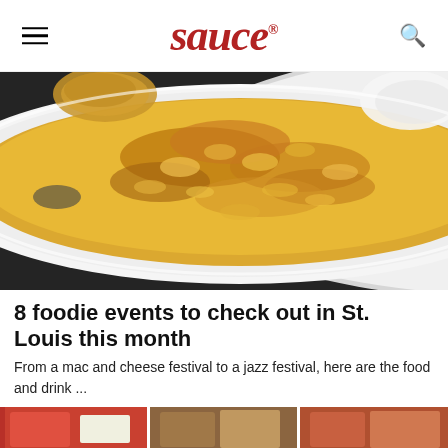sauce
[Figure (photo): Overhead photo of a baked mac and cheese in a white oval casserole dish with handles, on a dark slate surface. A wooden spoon is visible top left and a white bowl top right.]
8 foodie events to check out in St. Louis this month
From a mac and cheese festival to a jazz festival, here are the food and drink ...
[Figure (photo): Partial view of a food image at the bottom of the page, showing colorful dishes, partially cropped.]